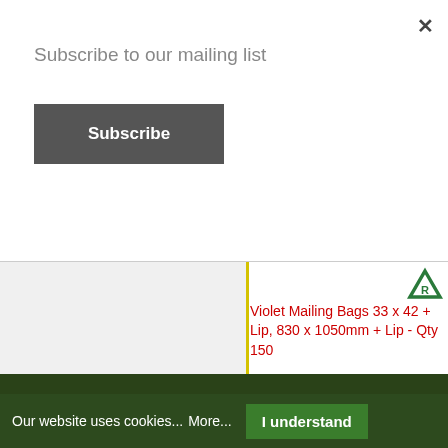Subscribe to our mailing list
Subscribe
Violet Mailing Bags 33 x 42 + Lip, 830 x 1050mm + Lip - Qty 150
LDPURP9/CX
Poly Postal Packaging manufacture 2 versions of a Purple Mailing Bag.  Both are very popular in..
£75.00
EX VAT: £62.50
Our website uses cookies... More... I understand